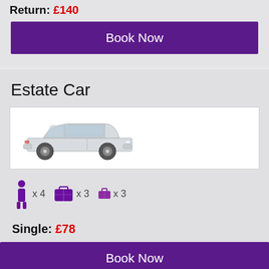Return: £140
Book Now
Estate Car
[Figure (illustration): Silver estate/wagon car viewed from the side]
x 4   x 3   x 3
Single: £78
Book Now